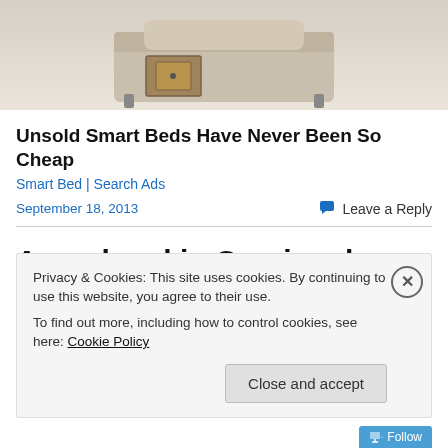[Figure (photo): Partial view of a smart bed with a wooden drawer, beige/tan upholstery, photographed on white background — advertisement image cropped at top]
Unsold Smart Beds Have Never Been So Cheap
Smart Bed | Search Ads
September 18, 2013
Leave a Reply
A weekend in Capri and Amalfi!
Privacy & Cookies: This site uses cookies. By continuing to use this website, you agree to their use.
To find out more, including how to control cookies, see here: Cookie Policy
Close and accept